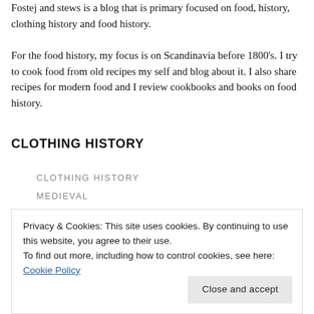Fostej and stews is a blog that is primary focused on food, history, clothing history and food history.
For the food history, my focus is on Scandinavia before 1800's. I try to cook food from old recipes my self and blog about it. I also share recipes for modern food and I review cookbooks and books on food history.
CLOTHING HISTORY
CLOTHING HISTORY
MEDIEVAL
Privacy & Cookies: This site uses cookies. By continuing to use this website, you agree to their use.
To find out more, including how to control cookies, see here: Cookie Policy
Close and accept